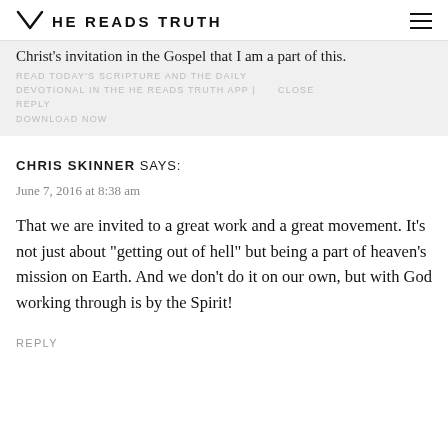HE READS TRUTH
Christ's invitation in the Gospel that I am a part of this.
READ TODAY'S SCRIPTURE AND THE DAILY DEVOTIONAL IN THE HE READS TRUTH APP | CLOSE REPLY DOWNLOAD NOW
CHRIS SKINNER SAYS:
June 7, 2016 at 8:38 am
That we are invited to a great work and a great movement. It’s not just about “getting out of hell” but being a part of heaven’s mission on Earth. And we don’t do it on our own, but with God working through is by the Spirit!
REPLY